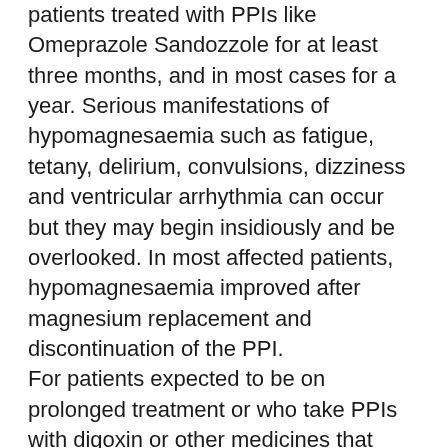patients treated with PPIs like Omeprazole Sandozzole for at least three months, and in most cases for a year. Serious manifestations of hypomagnesaemia such as fatigue, tetany, delirium, convulsions, dizziness and ventricular arrhythmia can occur but they may begin insidiously and be overlooked. In most affected patients, hypomagnesaemia improved after magnesium replacement and discontinuation of the PPI. For patients expected to be on prolonged treatment or who take PPIs with digoxin or other medicines that may cause hypomagnesaemia (e.g. diuretics), healthcare professionals should consider measuring magnesium levels before starting PPI treatment and periodically during